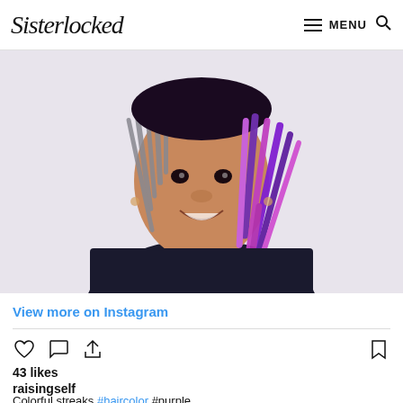Sisterlocked  MENU
[Figure (photo): A woman smiling with colorful loc'd hair featuring purple and pink streaks, wearing a dark tank top, selfie-style photo.]
View more on Instagram
43 likes
raisingself
Colorful streaks #haircolor #purple